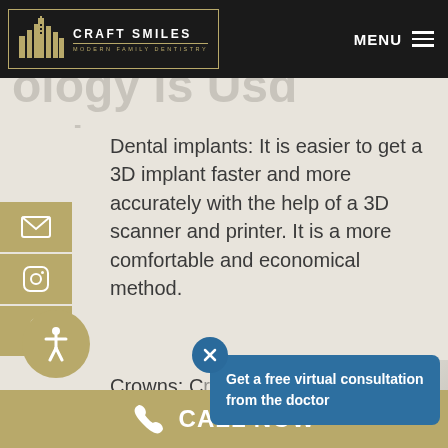Craft Smiles Modern Family Dentistry — MENU
ology is Us and
Dental implants: It is easier to get a 3D implant faster and more accurately with the help of a 3D scanner and printer. It is a more comfortable and economical method.
Get a free virtual consultation from the doctor
Crowns: C... very qui... in-house at our Craft Smiles office. We will scan your teeth to model
CALL NOW